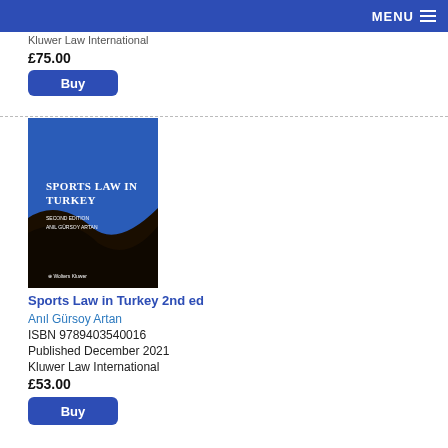MENU
Kluwer Law International
£75.00
Buy
[Figure (photo): Book cover for Sports Law in Turkey 2nd edition, blue and dark brown cover with white text, published by Wolters Kluwer]
Sports Law in Turkey 2nd ed
Anıl Gürsoy Artan
ISBN 9789403540016
Published December 2021
Kluwer Law International
£53.00
Buy